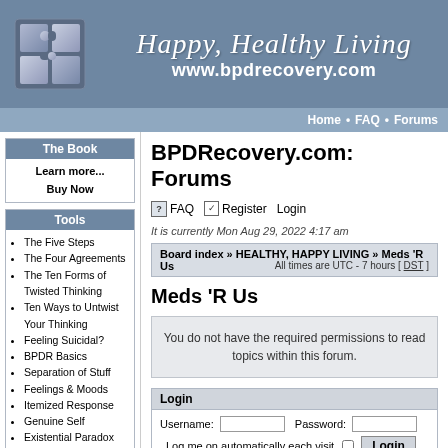[Figure (logo): BPDRecovery.com header banner with puzzle piece logo, 'Happy, Healthy Living' script text, and www.bpdrecovery.com URL]
Home • FAQ • Forums
The Book
Learn more...
Buy Now
Tools
The Five Steps
The Four Agreements
The Ten Forms of Twisted Thinking
Ten Ways to Untwist Your Thinking
Feeling Suicidal?
BPDR Basics
Separation of Stuff
Feelings & Moods
Itemized Response
Genuine Self
Existential Paradox
Advertisement
BPDRecovery.com: Forums
FAQ  Register  Login
It is currently Mon Aug 29, 2022 4:17 am
Board index » HEALTHY, HAPPY LIVING » Meds 'R Us  All times are UTC - 7 hours [ DST ]
Meds 'R Us
You do not have the required permissions to read topics within this forum.
| Login |
| --- |
| Username: |  | Password: |  |
| Log me on automatically each visit |  |  | Login |